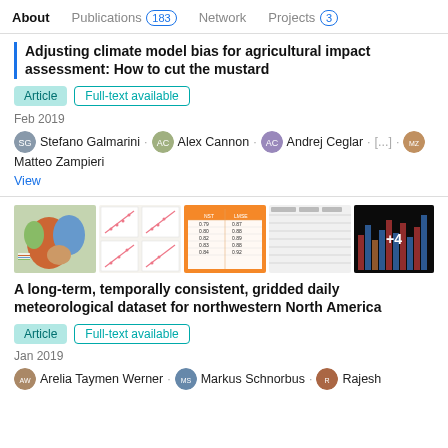About   Publications 183   Network   Projects 3
Adjusting climate model bias for agricultural impact assessment: How to cut the mustard
Article   Full-text available
Feb 2019
Stefano Galmarini · Alex Cannon · Andrej Ceglar · [...] · Matteo Zampieri
View
[Figure (photo): Thumbnail images of figures from the paper including a color map, scatter plots, a data table, and bar charts with +4 overlay]
A long-term, temporally consistent, gridded daily meteorological dataset for northwestern North America
Article   Full-text available
Jan 2019
Arelia Tavmen Werner · Markus Schnorbus · Rajesh